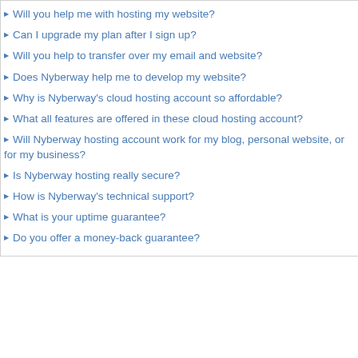Will you help me with hosting my website?
Can I upgrade my plan after I sign up?
Will you help to transfer over my email and website?
Does Nyberway help me to develop my website?
Why is Nyberway's cloud hosting account so affordable?
What all features are offered in these cloud hosting account?
Will Nyberway hosting account work for my blog, personal website, or for my business?
Is Nyberway hosting really secure?
How is Nyberway's technical support?
What is your uptime guarantee?
Do you offer a money-back guarantee?